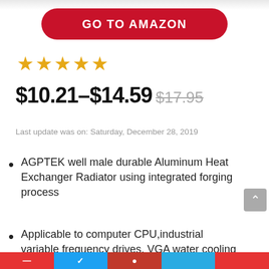[Figure (other): Partial product image cropped at top]
GO TO AMAZON
[Figure (other): Five gold star rating]
$10.21–$14.59 $17.95
Last update was on: Saturday, December 28, 2019
AGPTEK well male durable Aluminum Heat Exchanger Radiator using integrated forging process
Applicable to computer CPU,industrial variable frequency drives, VGA water cooling ,laser head cooling, and air conditioning evaporator.
[Figure (other): Bottom navigation bar with colored segments]